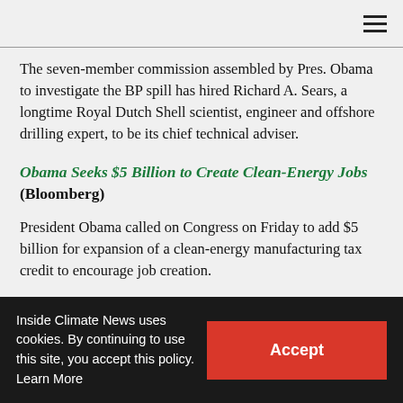The seven-member commission assembled by Pres. Obama to investigate the BP spill has hired Richard A. Sears, a longtime Royal Dutch Shell scientist, engineer and offshore drilling expert, to be its chief technical adviser.
Obama Seeks $5 Billion to Create Clean-Energy Jobs (Bloomberg)
President Obama called on Congress on Friday to add $5 billion for expansion of a clean-energy manufacturing tax credit to encourage job creation.
California Utilities Struggle to Meet Renewable-
Inside Climate News uses cookies. By continuing to use this site, you accept this policy. Learn More